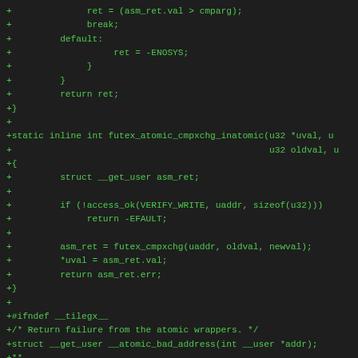[Figure (screenshot): Source code diff showing C code additions for futex atomic operations, including futex_atomic_cmpxchg_inatomic function and related structures, displayed as green text on dark background]